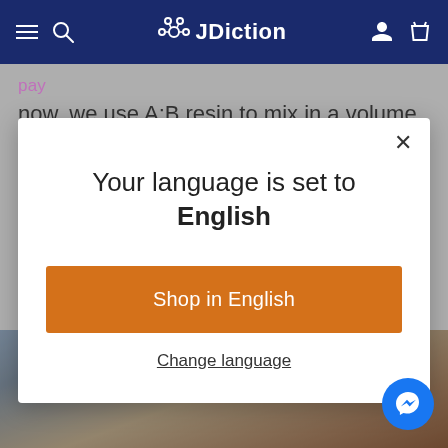JDiction navigation header
now, we use A:B resin to mix in a volume
[Figure (screenshot): Language selection modal dialog on JDiction e-commerce website with orange 'Shop in English' button and 'Change language' link]
Your language is set to English
Shop in English
Change language
[Figure (photo): Photo of a glass measuring beaker with measurement markings]